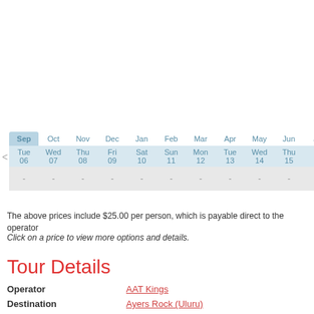| Sep | Oct | Nov | Dec | Jan | Feb | Mar | Apr | May | Jun | Jul | Aug |
| --- | --- | --- | --- | --- | --- | --- | --- | --- | --- | --- | --- |
| Tue 06 | Wed 07 | Thu 08 | Fri 09 | Sat 10 | Sun 11 | Mon 12 | Tue 13 | Wed 14 | Thu 15 | Fri 16 | Sat 17 |
| - | - | - | - | - | - | - | - | - | - | - | - |
The above prices include $25.00 per person, which is payable direct to the operator
Click on a price to view more options and details.
Tour Details
| Field | Value |
| --- | --- |
| Operator | AAT Kings |
| Destination | Ayers Rock (Uluru) |
| Departs From | Ayers Rock (Uluru) |